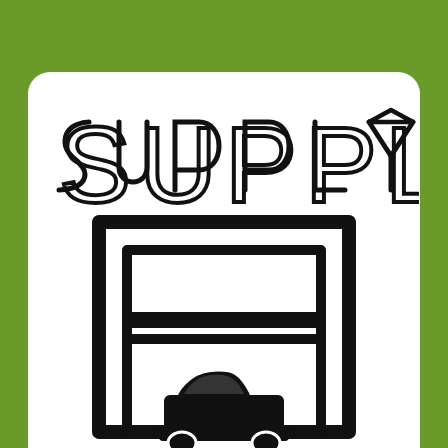[Figure (logo): Green background with a white rounded-corner card containing the word SUPPLY in thin outline uppercase letters with a downward-pointing triangle for the Y, above an icon of a car inside a garage/tunnel arch drawn in thick black outline strokes.]